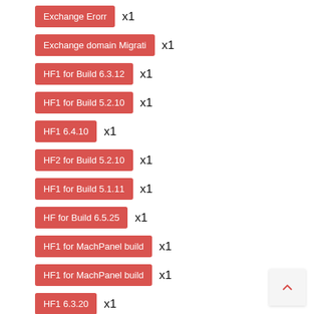Exchange Erorr x1
Exchange domain Migrati x1
HF1 for Build 6.3.12 x1
HF1 for Build 5.2.10 x1
HF1 6.4.10 x1
HF2 for Build 5.2.10 x1
HF1 for Build 5.1.11 x1
HF for Build 6.5.25 x1
HF1 for MachPanel build x1
HF1 for MachPanel build x1
HF1 6.3.20 x1
HF1 for Build 5.2.11 x1
Exchange Migration x1